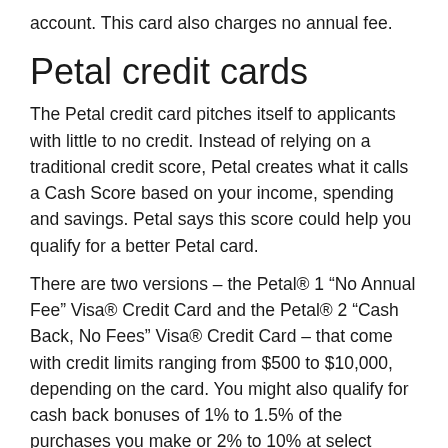account. This card also charges no annual fee.
Petal credit cards
The Petal credit card pitches itself to applicants with little to no credit. Instead of relying on a traditional credit score, Petal creates what it calls a Cash Score based on your income, spending and savings. Petal says this score could help you qualify for a better Petal card.
There are two versions – the Petal® 1 “No Annual Fee” Visa® Credit Card and the Petal® 2 “Cash Back, No Fees” Visa® Credit Card – that come with credit limits ranging from $500 to $10,000, depending on the card. You might also qualify for cash back bonuses of 1% to 1.5% of the purchases you make or 2% to 10% at select merchants.
Bottom line